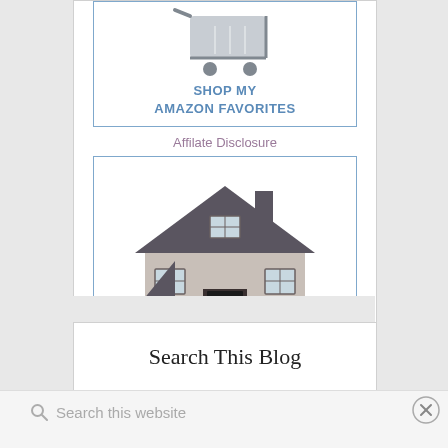[Figure (illustration): Shop My Amazon Favorites banner with shopping cart icon and blue border]
Affilate Disclosure
[Figure (illustration): Stay At Our Mountain House banner with illustrated house drawing and blue border]
Search This Blog
Search this website